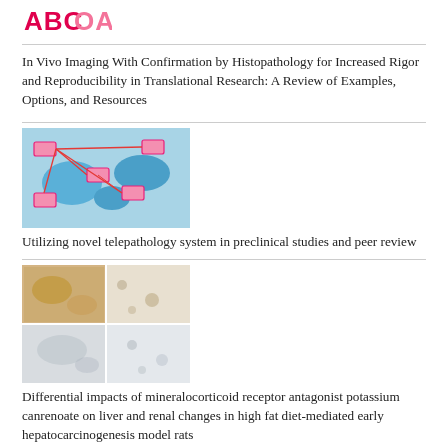[Figure (logo): ABC logo with pink/red stylized text]
In Vivo Imaging With Confirmation by Histopathology for Increased Rigor and Reproducibility in Translational Research: A Review of Examples, Options, and Resources
[Figure (illustration): Diagram showing telepathology network connections with pink boxes and a world map in blue]
Utilizing novel telepathology system in preclinical studies and peer review
[Figure (photo): Histopathology tissue images in a 2x2 grid showing stained tissue sections]
Differential impacts of mineralocorticoid receptor antagonist potassium canrenoate on liver and renal changes in high fat diet-mediated early hepatocarcinogenesis model rats
[Figure (photo): Histopathology tissue image showing stained brown tissue section]